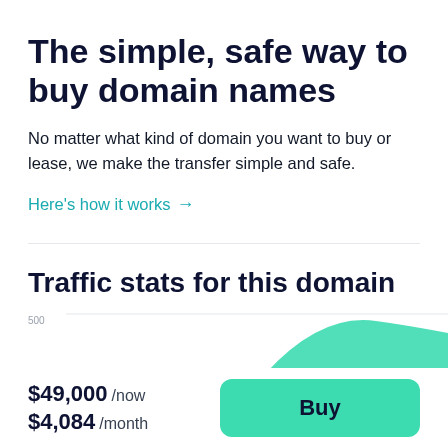The simple, safe way to buy domain names
No matter what kind of domain you want to buy or lease, we make the transfer simple and safe.
Here's how it works →
Traffic stats for this domain
[Figure (area-chart): Partial area chart showing traffic stats, with a green hill-shaped curve visible, y-axis label 500]
$49,000 /now $4,084 /month